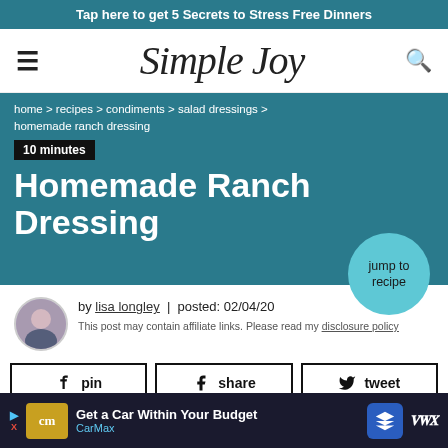Tap here to get 5 Secrets to Stress Free Dinners
[Figure (logo): Simple Joy website logo with hamburger menu icon on left and search icon on right]
home > recipes > condiments > salad dressings > homemade ranch dressing
10 minutes
Homemade Ranch Dressing
jump to recipe
by lisa longley | posted: 02/04/20
This post may contain affiliate links. Please read my disclosure policy
pin | share | tweet
Homemade Ranch Dressing comes together with eas... my ing you
[Figure (screenshot): Advertisement banner for CarMax: Get a Car Within Your Budget]